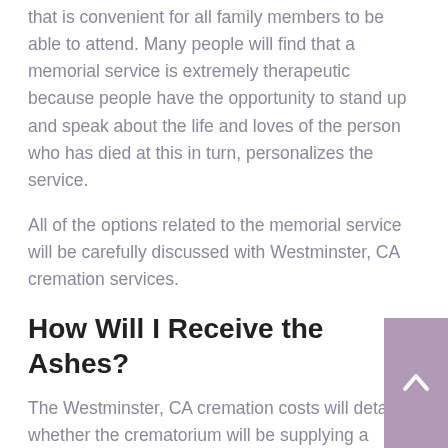that is convenient for all family members to be able to attend. Many people will find that a memorial service is extremely therapeutic because people have the opportunity to stand up and speak about the life and loves of the person who has died at this in turn, personalizes the service.
All of the options related to the memorial service will be carefully discussed with Westminster, CA cremation services.
How Will I Receive the Ashes?
The Westminster, CA cremation costs will detail whether the crematorium will be supplying a standard urn to return the ashes to you or whether you have opted to purchase a model for display which you may decide to use for a